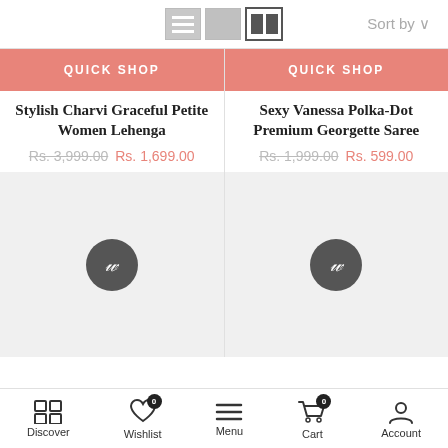[Figure (screenshot): Toolbar with list/grid view toggle icons and Sort by dropdown]
QUICK SHOP
QUICK SHOP
Stylish Charvi Graceful Petite Women Lehenga
Rs. 3,999.00 Rs. 1,699.00
Sexy Vanessa Polka-Dot Premium Georgette Saree
Rs. 1,999.00 Rs. 599.00
[Figure (logo): Product image placeholder with logo circle (w script letter)]
[Figure (logo): Product image placeholder with logo circle (w script letter)]
Discover  Wishlist  Menu  Cart  Account